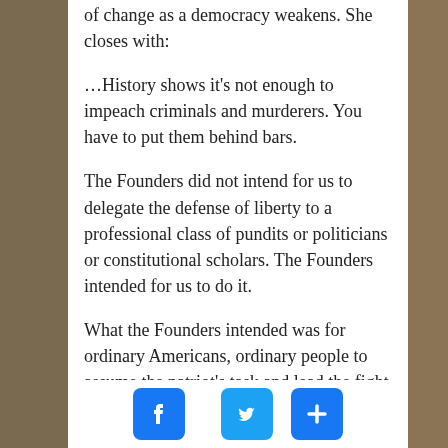of change as a democracy weakens. She closes with:
…History shows it's not enough to impeach criminals and murderers. You have to put them behind bars.
The Founders did not intend for us to delegate the defense of liberty to a professional class of pundits or politicians or constitutional scholars. The Founders intended for us to do it.
What the Founders intended was for ordinary Americans, ordinary people to assume the patriot's task and lead the fight to restore democracy, and to see themselves as leaders.
[Figure (infographic): Social media sharing buttons: Facebook (blue), Twitter (blue bird), Share/Plus (blue)]